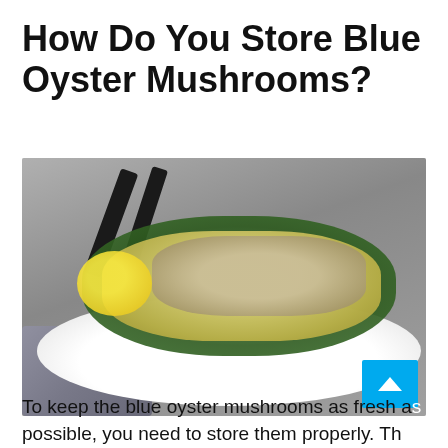How Do You Store Blue Oyster Mushrooms?
[Figure (photo): A white oval plate with orecchiette pasta, sautéed spinach, blue oyster mushrooms, and shaved parmesan, with a lemon wedge. Black utensils visible in background, gray cloth napkin underneath. A blue back-to-top button in bottom right corner.]
To keep the blue oyster mushrooms as fresh as possible, you need to store them properly. Th